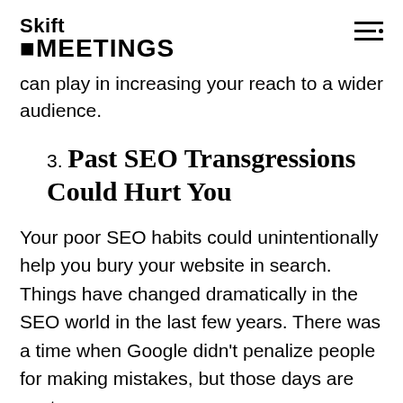Skift MEETINGS
can play in increasing your reach to a wider audience.
3. Past SEO Transgressions Could Hurt You
Your poor SEO habits could unintentionally help you bury your website in search. Things have changed dramatically in the SEO world in the last few years. There was a time when Google didn't penalize people for making mistakes, but those days are past.
Now, Google can and will withhold benefits and